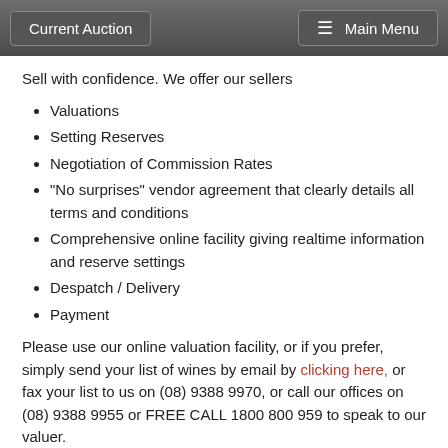Current Auction | Main Menu
Sell with confidence. We offer our sellers
Valuations
Setting Reserves
Negotiation of Commission Rates
"No surprises" vendor agreement that clearly details all terms and conditions
Comprehensive online facility giving realtime information and reserve settings
Despatch / Delivery
Payment
Please use our online valuation facility, or if you prefer, simply send your list of wines by email by clicking here, or fax your list to us on (08) 9388 9970, or call our offices on (08) 9388 9955 or FREE CALL 1800 800 959 to speak to our valuer.
Confidentiality
All transactions with Sterling are kept strictly confidential. Unless compelled by law, Sterling will not disclose any personal or